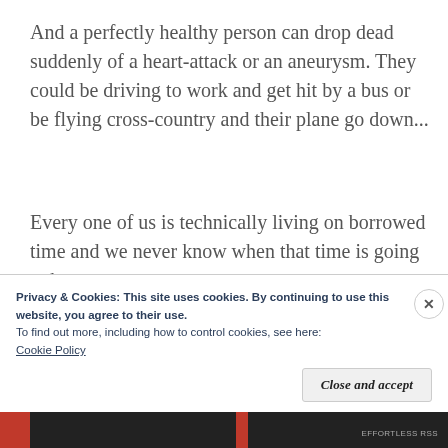And a perfectly healthy person can drop dead suddenly of a heart-attack or an aneurysm. They could be driving to work and get hit by a bus or be flying cross-country and their plane go down...
Every one of us is technically living on borrowed time and we never know when that time is going to be up.
In most ways I think this is actually more
Privacy & Cookies: This site uses cookies. By continuing to use this website, you agree to their use.
To find out more, including how to control cookies, see here:
Cookie Policy
Close and accept